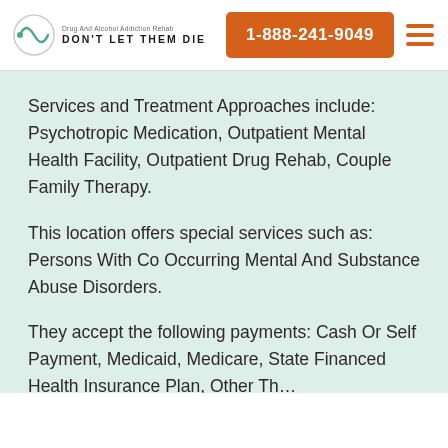DON'T LET THEM DIE | 1-888-241-9049
Services and Treatment Approaches include: Psychotropic Medication, Outpatient Mental Health Facility, Outpatient Drug Rehab, Couple Family Therapy.
This location offers special services such as: Persons With Co Occurring Mental And Substance Abuse Disorders.
They accept the following payments: Cash Or Self Payment, Medicaid, Medicare, State Financed Health Insurance Plan, Other Th…